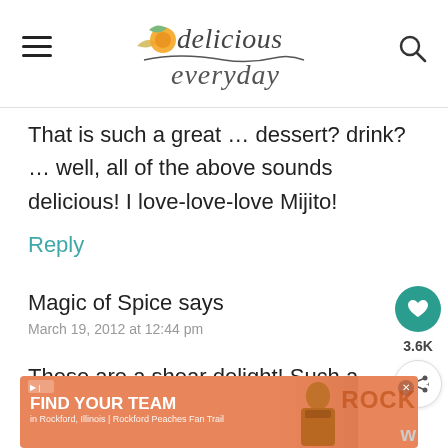delicious everyday
That is such a great … dessert? drink? … well, all of the above sounds delicious! I love-love-love Mijito!
Reply
Magic of Spice says
March 19, 2012 at 12:44 pm
These are a shear delight! Such a lovely fl... e...nt
[Figure (screenshot): Advertisement banner: FIND YOUR TEAM in Rockford, Illinois | Rockford Peaches Fan Trail with a photo of a person and ROCK logo. Also shows social sharing widget with heart icon (3.6K) and share icon.]